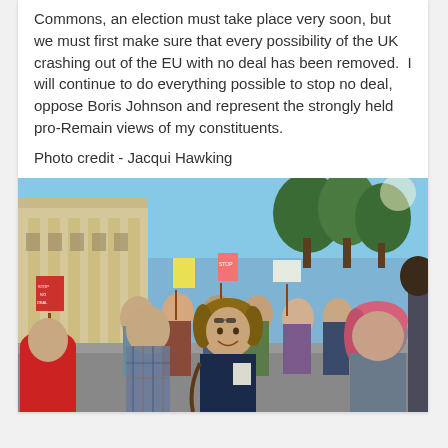Commons, an election must take place very soon, but we must first make sure that every possibility of the UK crashing out of the EU with no deal has been removed.  I will continue to do everything possible to stop no deal, oppose Boris Johnson and represent the strongly held pro-Remain views of my constituents.
Photo credit - Jacqui Hawking
[Figure (photo): Outdoor protest/march scene on a sunny day in what appears to be central London. A crowd of protesters carrying signs and placards line a street next to a classical stone building. In the foreground, a smiling woman with shoulder-length brown hair wearing a dark navy t-shirt stands facing the camera. A woman with pink/rose-colored hair is visible to the right. People hold protest signs in the background. Trees line the street and a blue sky is visible.]